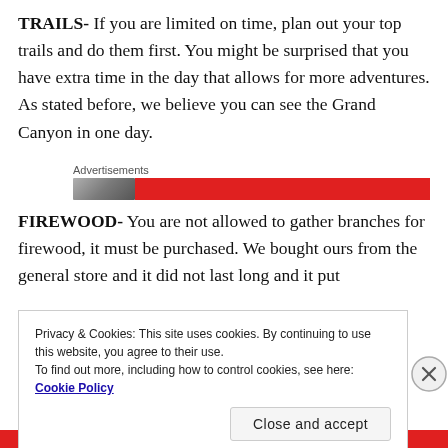TRAILS- If you are limited on time, plan out your top trails and do them first. You might be surprised that you have extra time in the day that allows for more adventures. As stated before, we believe you can see the Grand Canyon in one day.
[Figure (other): Advertisements banner with red bar and partial image]
FIREWOOD- You are not allowed to gather branches for firewood, it must be purchased. We bought ours from the general store and it did not last long and it put
Privacy & Cookies: This site uses cookies. By continuing to use this website, you agree to their use.
To find out more, including how to control cookies, see here: Cookie Policy